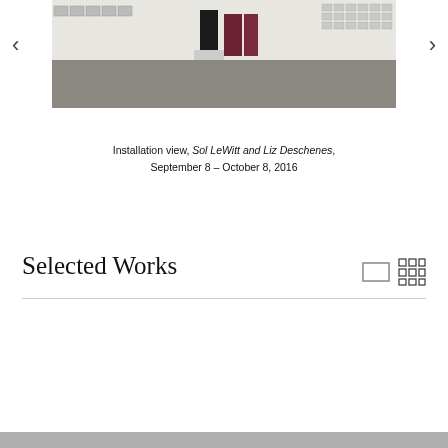[Figure (photo): Installation view of a gallery showing Sol LeWitt and Liz Deschenes works: framed photographs on white walls, a dark sculptural column on a pedestal, red/dark-toned panels, and grid of small framed works on right wall. Gray concrete floor.]
Installation view, Sol LeWitt and Liz Deschenes, September 8 – October 8, 2016
Selected Works